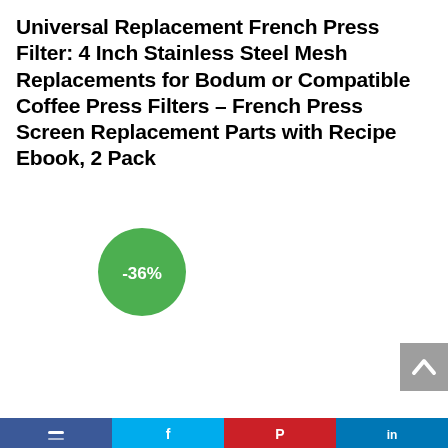Universal Replacement French Press Filter: 4 Inch Stainless Steel Mesh Replacements for Bodum or Compatible Coffee Press Filters – French Press Screen Replacement Parts with Recipe Ebook, 2 Pack
[Figure (infographic): Green circular discount badge showing -36%]
[Figure (infographic): Back to top button (grey square with upward chevron arrow)]
[Figure (infographic): Bottom navigation/sharing bar with four colored sections: dark blue (Facebook), light blue (Twitter), red (Pinterest), medium blue (LinkedIn), each with a white icon]